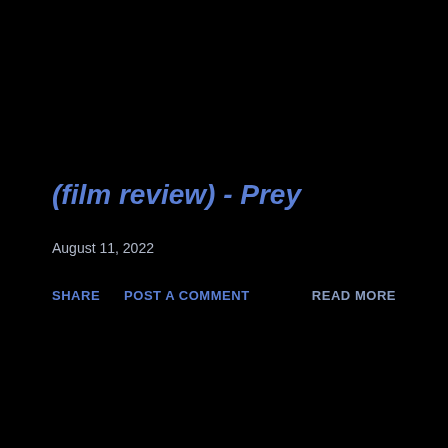(film review) - Prey
August 11, 2022
SHARE    POST A COMMENT                                    READ MORE